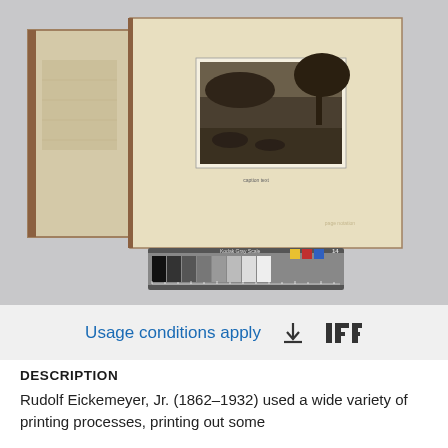[Figure (photo): Photograph of an open book/album laid flat on a gray surface. The right page of the album contains a small mounted black-and-white photograph depicting a landscape scene with trees and a view. Below the open album, a color calibration/gray scale ruler strip is visible.]
Usage conditions apply
DESCRIPTION
Rudolf Eickemeyer, Jr. (1862–1932) used a wide variety of printing processes, printing out some